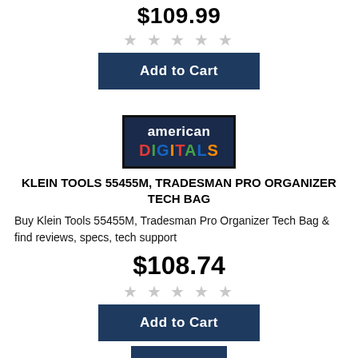$109.99
[Figure (other): 5 empty star rating icons]
[Figure (other): Add to Cart button (dark navy blue)]
[Figure (logo): American Digitals logo: dark navy box with 'american' in white and 'DIGITALS' in multicolor letters]
KLEIN TOOLS 55455M, TRADESMAN PRO ORGANIZER TECH BAG
Buy Klein Tools 55455M, Tradesman Pro Organizer Tech Bag & find reviews, specs, tech support
$108.74
[Figure (other): 5 empty star rating icons]
[Figure (other): Add to Cart button (dark navy blue)]
[Figure (other): Partial Add to Cart button visible at bottom]